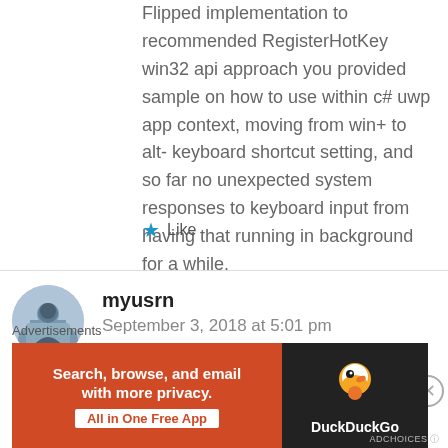Flipped implementation to recommended RegisterHotKey win32 api approach you provided sample on how to use within c# uwp app context, moving from win+ to alt- keyboard shortcut setting, and so far no unexpected system responses to keyboard input from having that running in background for a while.
Like
myusrn
September 3, 2018 at 5:01 pm
wrt q1. status update, I did a solution | clean followed by a build and debug at which point the alt-o and alt
Advertisements
[Figure (screenshot): DuckDuckGo advertisement banner: orange section with text 'Search, browse, and email with more privacy. All in One Free App' and dark section with DuckDuckGo duck logo]